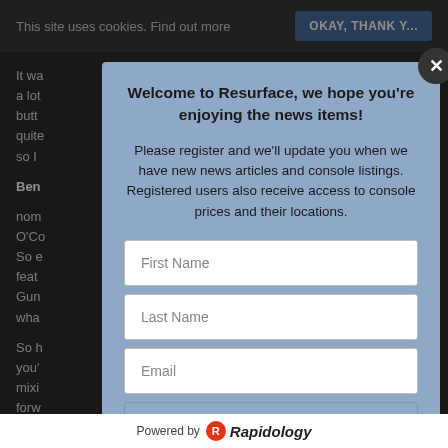This site uses cookies. Find out more
OKAY, THANK YOU
It wa... a lot... butt... quite... so I...
Ben...
nom... O'Co... ently. So e... feat... o Gun... or wha...
So h... you'... d... mixi... ere forw... and... ve been, having not heard anything like... Atmos play into your approach to something like this?
Welcome to Resurface, we hope you're enjoying the news items!
Please register and we'll update you when we have new news articles and console listings. Registered users also receive access to console prices and their locations.
First Name
Last Name
Email
Register
Powered by Rapidology